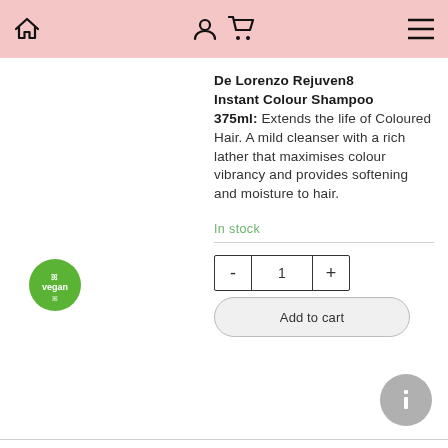Navigation bar with home, user, cart, and menu icons
[Figure (logo): Vegan certified badge — green circular badge with leaf/plant icon and text 'vegan']
De Lorenzo Rejuven8 Instant Colour Shampoo 375ml:
Extends the life of Coloured Hair. A mild cleanser with a rich lather that maximises colour vibrancy and provides softening and moisture to hair.
In stock
- 1 + Add to cart